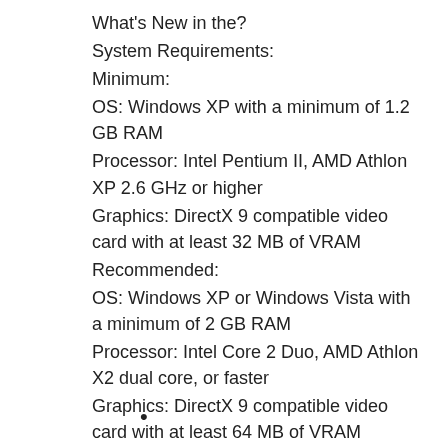What's New in the?
System Requirements:
Minimum:
OS: Windows XP with a minimum of 1.2 GB RAM
Processor: Intel Pentium II, AMD Athlon XP 2.6 GHz or higher
Graphics: DirectX 9 compatible video card with at least 32 MB of VRAM
Recommended:
OS: Windows XP or Windows Vista with a minimum of 2 GB RAM
Processor: Intel Core 2 Duo, AMD Athlon X2 dual core, or faster
Graphics: DirectX 9 compatible video card with at least 64 MB of VRAM
Sound: DirectX
•